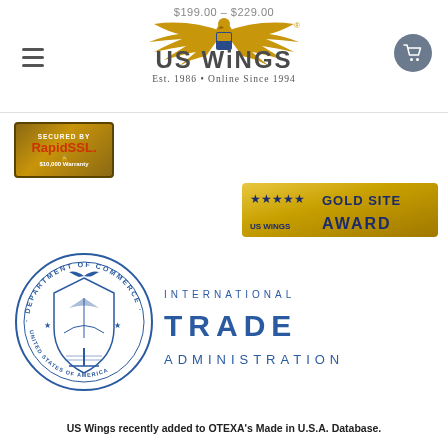$199.00 – $229.00
[Figure (logo): US Wings logo with eagle, Est. 1986 - Online Since 1994]
[Figure (logo): Secured by RapidSSL $10,000 Warranty badge]
[Figure (logo): US Wings Gold Site Award with 5 stars]
[Figure (logo): Department of Commerce United States of America circular seal]
[Figure (logo): International Trade Administration text logo]
US Wings recently added to OTEXA's Made in U.S.A. Database.